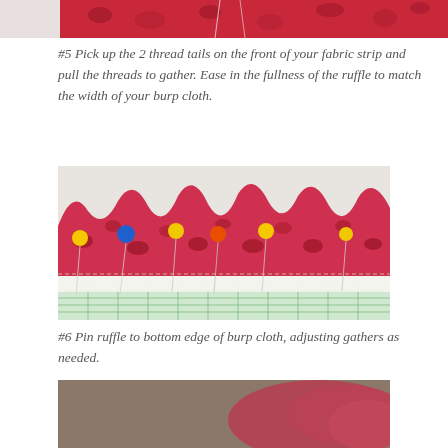[Figure (photo): Top cropped photo showing bottom portion of pink leopard print fabric strip with thread tails visible]
#5 Pick up the 2 thread tails on the front of your fabric strip and pull the threads to gather. Ease in the fullness of the ruffle to match the width of your burp cloth.
[Figure (photo): Photo of gathered pink leopard print ruffle fabric pinned with colorful sewing pins (yellow, blue, orange) to a burp cloth, showing the gathered ruffles along the bottom edge on a green gridded cutting mat]
#6 Pin ruffle to bottom edge of burp cloth, adjusting gathers as needed.
[Figure (photo): Bottom cropped photo showing close-up of pink ruffle fabric being sewn, blurred background]